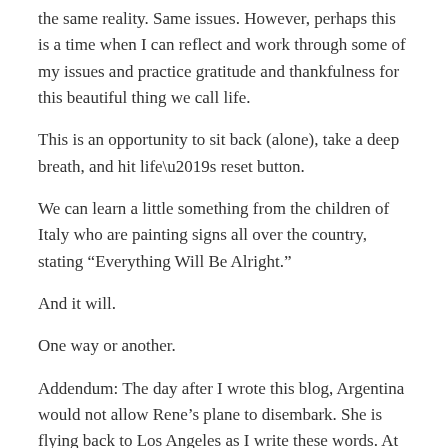the same reality. Same issues. However, perhaps this is a time when I can reflect and work through some of my issues and practice gratitude and thankfulness for this beautiful thing we call life.
This is an opportunity to sit back (alone), take a deep breath, and hit life’s reset button.
We can learn a little something from the children of Italy who are painting signs all over the country, stating “Everything Will Be Alright.”
And it will.
One way or another.
Addendum: The day after I wrote this blog, Argentina would not allow Rene’s plane to disembark. She is flying back to Los Angeles as I write these words. At least in terms of seeing the love of my life soon, everything IS alright.
Related